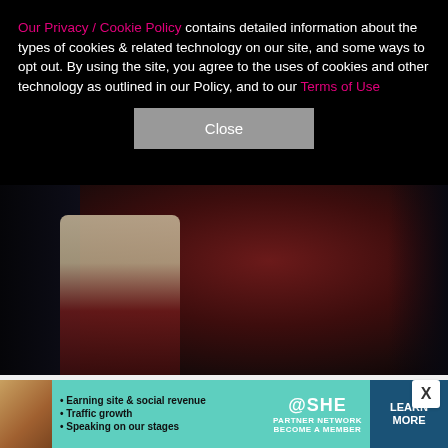Our Privacy / Cookie Policy contains detailed information about the types of cookies & related technology on our site, and some ways to opt out. By using the site, you agree to the uses of cookies and other technology as outlined in our Policy, and to our Terms of Use
[Figure (photo): Close-up photo of a person wearing dark clothing and red/maroon pants, showing a hand and lower body, dark background]
29/68   GREGORY PACE/REX/SHUTTERSTOCK
Zachary Quinto attends the "Glass" film premiere in New York City on Jan. 15, 2019.
[Figure (infographic): SHE Media Partner Network advertisement banner: Earning site & social revenue, Traffic growth, Speaking on our stages. LEARN MORE button.]